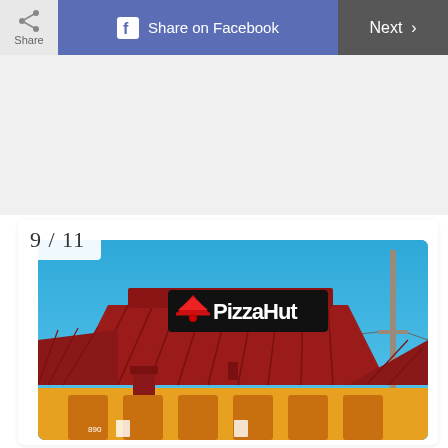[Figure (screenshot): Share button with share icon on left of toolbar]
[Figure (screenshot): Facebook share button - blue button with Facebook icon and text 'Share on Facebook']
[Figure (screenshot): Next button on right side of toolbar with chevron arrow]
9 / 11
[Figure (photo): Photo of a Pizza Hut restaurant exterior. The building has a distinctive dark red/maroon sloped metal roof with the Pizza Hut logo and red roof icon visible. The walls are yellow/orange. Blue sky in the background. A utility pole is visible on the right side.]